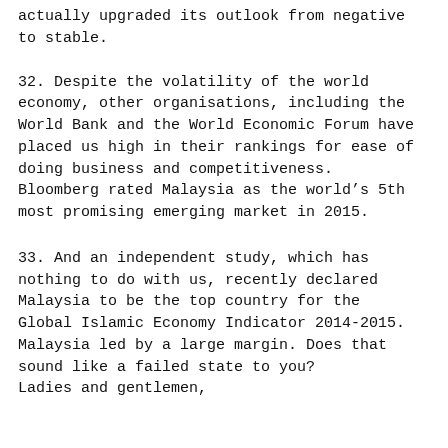actually upgraded its outlook from negative to stable.
32. Despite the volatility of the world economy, other organisations, including the World Bank and the World Economic Forum have placed us high in their rankings for ease of doing business and competitiveness. Bloomberg rated Malaysia as the world's 5th most promising emerging market in 2015.
33. And an independent study, which has nothing to do with us, recently declared Malaysia to be the top country for the Global Islamic Economy Indicator 2014-2015. Malaysia led by a large margin. Does that sound like a failed state to you? Ladies and gentlemen,